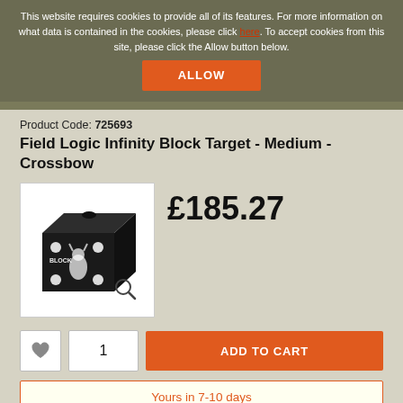This website requires cookies to provide all of its features. For more information on what data is contained in the cookies, please click here. To accept cookies from this site, please click the Allow button below.
ALLOW
Product Code: 725693
Field Logic Infinity Block Target - Medium - Crossbow
[Figure (photo): Black cube archery target block with white circular aiming points and deer silhouette printed on it. Magnifying glass zoom icon in the bottom right corner.]
£185.27
ADD TO CART
Yours in 7-10 days